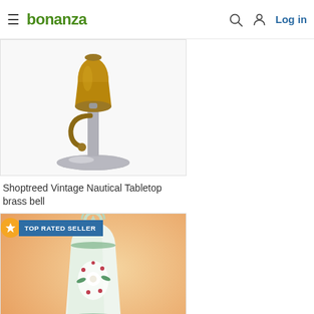bonanza — Log in
[Figure (photo): Shoptreed Vintage Nautical Tabletop brass bell product photo — a brass bell on a silver stand with a decorative arm]
Shoptreed Vintage Nautical Tabletop brass bell
$42.99
[Figure (photo): Ceramic decorative bell with floral pattern on peach/orange background, labeled TOP RATED SELLER]
TOP RATED SELLER